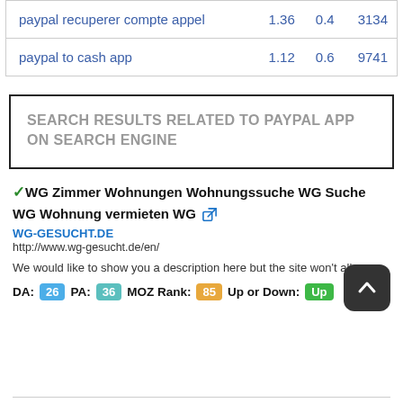| paypal recuperer compte appel | 1.36 | 0.4 | 3134 |
| paypal to cash app | 1.12 | 0.6 | 9741 |
SEARCH RESULTS RELATED TO PAYPAL APP ON SEARCH ENGINE
✓WG Zimmer Wohnungen Wohnungssuche WG Suche WG Wohnung vermieten WG 🔗
WG-GESUCHT.DE
http://www.wg-gesucht.de/en/
We would like to show you a description here but the site won't allow us.
DA: 26  PA: 36  MOZ Rank: 85  Up or Down: Up